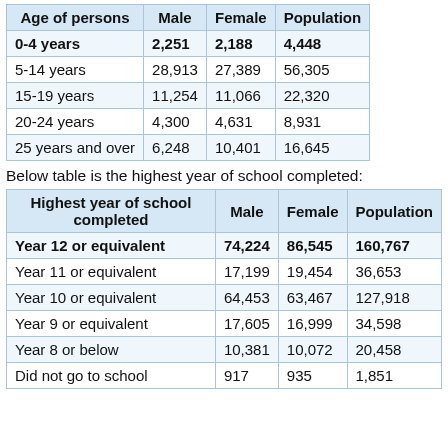| Age of persons | Male | Female | Population |
| --- | --- | --- | --- |
| 0-4 years | 2,251 | 2,188 | 4,448 |
| 5-14 years | 28,913 | 27,389 | 56,305 |
| 15-19 years | 11,254 | 11,066 | 22,320 |
| 20-24 years | 4,300 | 4,631 | 8,931 |
| 25 years and over | 6,248 | 10,401 | 16,645 |
Below table is the highest year of school completed:
| Highest year of school completed | Male | Female | Population |
| --- | --- | --- | --- |
| Year 12 or equivalent | 74,224 | 86,545 | 160,767 |
| Year 11 or equivalent | 17,199 | 19,454 | 36,653 |
| Year 10 or equivalent | 64,453 | 63,467 | 127,918 |
| Year 9 or equivalent | 17,605 | 16,999 | 34,598 |
| Year 8 or below | 10,381 | 10,072 | 20,458 |
| Did not go to school | 917 | 935 | 1,851 |